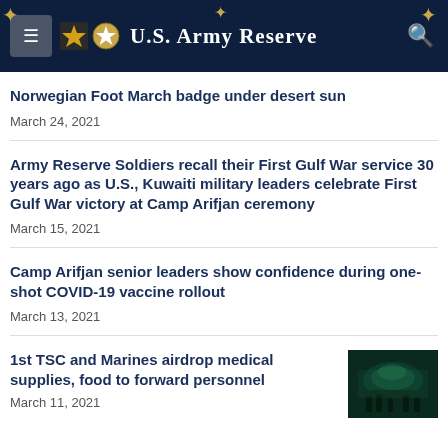U.S. Army Reserve
Norwegian Foot March badge under desert sun
March 24, 2021
Army Reserve Soldiers recall their First Gulf War service 30 years ago as U.S., Kuwaiti military leaders celebrate First Gulf War victory at Camp Arifjan ceremony
March 15, 2021
Camp Arifjan senior leaders show confidence during one-shot COVID-19 vaccine rollout
March 13, 2021
1st TSC and Marines airdrop medical supplies, food to forward personnel
March 11, 2021
[Figure (photo): Green-tinted military cargo plane interior with personnel in low light]